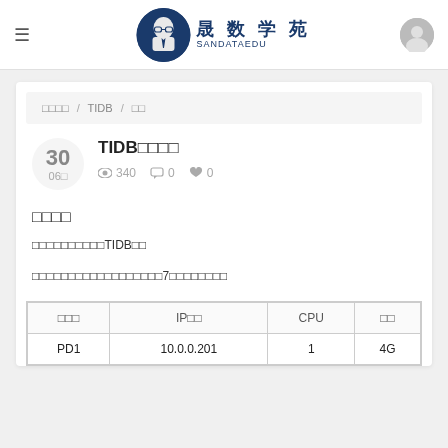晟数学苑 SANDATAEDU
□□□□ / TIDB / □□
TIDB□□□□
340 views  0 comments  0 likes
□□□□
□□□□□□□□□□TIDB□□
□□□□□□□□□□□□□□□□□□7□□□□□□□□
| □□□ | IP□□ | CPU | □□ |
| --- | --- | --- | --- |
| PD1 | 10.0.0.201 | 1 | 4G |